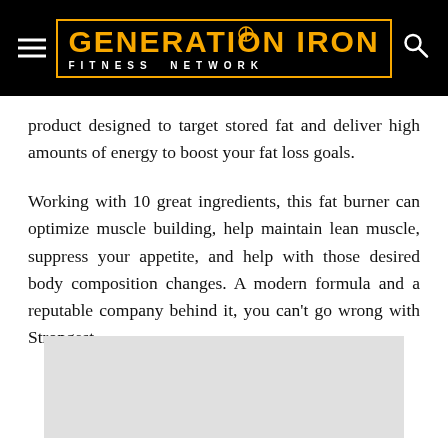GENERATION IRON FITNESS NETWORK
product designed to target stored fat and deliver high amounts of energy to boost your fat loss goals.
Working with 10 great ingredients, this fat burner can optimize muscle building, help maintain lean muscle, suppress your appetite, and help with those desired body composition changes. A modern formula and a reputable company behind it, you can't go wrong with Strongest.
[Figure (other): Advertisement placeholder box (light gray rectangle)]